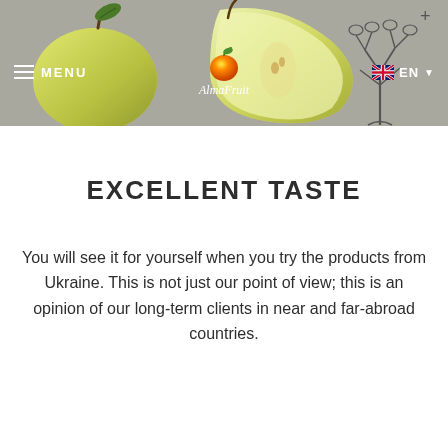[Figure (photo): Hero header image with pears (whole and sliced) on a grey background, with a botanical line drawing of a tree on the right side. Navigation bar overlays the image with hamburger menu, AlmaFruit logo with fruit icon, and EN language selector.]
EXCELLENT TASTE
You will see it for yourself when you try the products from Ukraine. This is not just our point of view; this is an opinion of our long-term clients in near and far-abroad countries.